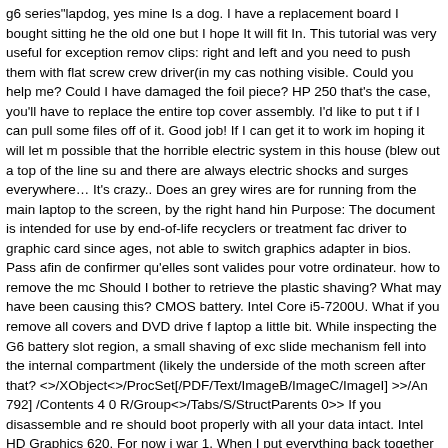g6 series"lapdog, yes mine Is a dog. I have a replacement board I bought sitting he the old one but I hope It will fit In. This tutorial was very useful for exception remov clips: right and left and you need to push them with flat screw crew driver(in my cas nothing visible. Could you help me? Could I have damaged the foil piece? HP 250 that's the case, you'll have to replace the entire top cover assembly. I'd like to put t if I can pull some files off of it. Good job! If I can get it to work im hoping it will let m possible that the horrible electric system in this house (blew out a top of the line su and there are always electric shocks and surges everywhere… It's crazy.. Does an grey wires are for running from the main laptop to the screen, by the right hand hin Purpose: The document is intended for use by end-of-life recyclers or treatment fac driver to graphic card since ages, not able to switch graphics adapter in bios. Pass afin de confirmer qu'elles sont valides pour votre ordinateur. how to remove the mc Should I bother to retrieve the plastic shaving? What may have been causing this? CMOS battery. Intel Core i5-7200U. What if you remove all covers and DVD drive f laptop a little bit. While inspecting the G6 battery slot region, a small shaving of exc slide mechanism fell into the internal compartment (likely the underside of the moth screen after that? <>/XObject<>/ProcSet[/PDF/Text/ImageB/ImageC/ImageI] >>/An 792] /Contents 4 0 R/Group<>/Tabs/S/StructParents 0>> If you disassemble and re should boot properly with all your data intact. Intel HD Graphics 620. For now i war 1. When I put everything back together the fan works fine, but my optical drive won by the computer. The personal question: I love this kind of job and i want to earn m go about removing the motherboard and whether the fan would be an issue consid fan. Hello. Any idea what might be the problem? I've seen many "HP Pavilion g6